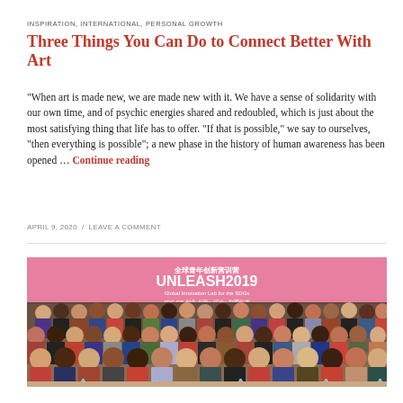INSPIRATION, INTERNATIONAL, PERSONAL GROWTH
Three Things You Can Do to Connect Better With Art
“When art is made new, we are made new with it. We have a sense of solidarity with our own time, and of psychic energies shared and redoubled, which is just about the most satisfying thing that life has to offer. “If that is possible,” we say to ourselves, “then everything is possible”; a new phase in the history of human awareness has been opened … Continue reading
APRIL 9, 2020 / LEAVE A COMMENT
[Figure (photo): Group photo of a large, diverse group of young people standing in front of a pink banner reading UNLEASH2019 Global Innovation Lab for the SDGs, with Chinese text above. Event appears to be held in China.]